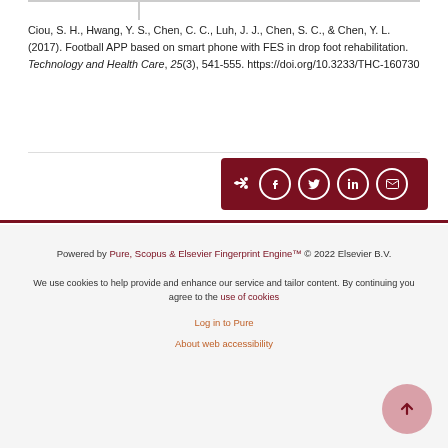Ciou, S. H., Hwang, Y. S., Chen, C. C., Luh, J. J., Chen, S. C., & Chen, Y. L. (2017). Football APP based on smart phone with FES in drop foot rehabilitation. Technology and Health Care, 25(3), 541-555. https://doi.org/10.3233/THC-160730
[Figure (other): Dark red share bar with share icon and social media icons: Facebook, Twitter, LinkedIn, Email]
Powered by Pure, Scopus & Elsevier Fingerprint Engine™ © 2022 Elsevier B.V.

We use cookies to help provide and enhance our service and tailor content. By continuing you agree to the use of cookies

Log in to Pure

About web accessibility